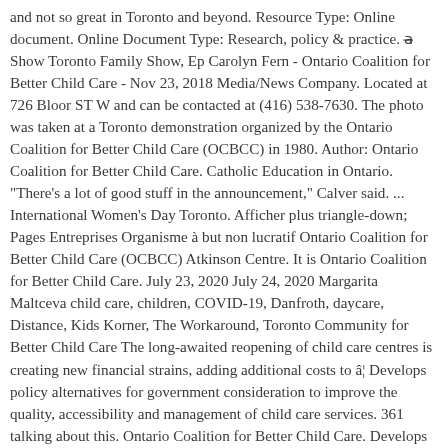and not so great in Toronto and beyond. Resource Type: Online document. Online Document Type: Research, policy & practice. âShow Toronto Family Show, Ep Carolyn Fern - Ontario Coalition for Better Child Care - Nov 23, 2018 Media/News Company. Located at 726 Bloor ST W and can be contacted at (416) 538-7630. The photo was taken at a Toronto demonstration organized by the Ontario Coalition for Better Child Care (OCBCC) in 1980. Author: Ontario Coalition for Better Child Care. Catholic Education in Ontario. "There's a lot of good stuff in the announcement," Calver said. ... International Women's Day Toronto. Afficher plus triangle-down; Pages Entreprises Organisme à but non lucratif Ontario Coalition for Better Child Care (OCBCC) Atkinson Centre. It is Ontario Coalition for Better Child Care. July 23, 2020 July 24, 2020 Margarita Maltceva child care, children, COVID-19, Danfroth, daycare, Distance, Kids Korner, The Workaround, Toronto Community for Better Child Care The long-awaited reopening of child care centres is creating new financial strains, adding additional costs to â¦ Develops policy alternatives for government consideration to improve the quality, accessibility and management of child care services. 361 talking about this. Ontario Coalition for Better Child Care. Develops books, manuals, fact sheets and news bulletins on child care policy and operations for use by child care